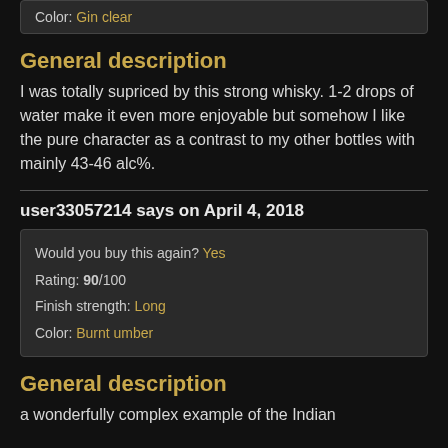Color: Gin clear
General description
I was totally supriced by this strong whisky. 1-2 drops of water make it even more enjoyable but somehow I like the pure character as a contrast to my other bottles with mainly 43-46 alc%.
user33057214 says on April 4, 2018
Would you buy this again? Yes
Rating: 90/100
Finish strength: Long
Color: Burnt umber
General description
a wonderfully complex example of the Indian